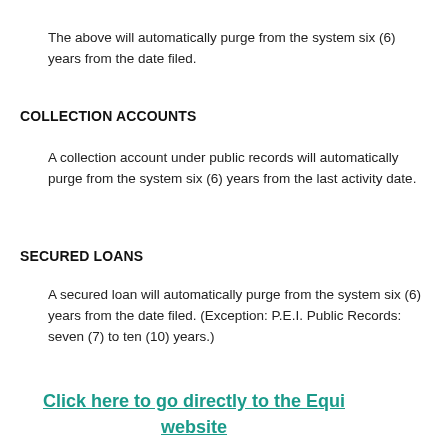The above will automatically purge from the system six (6) years from the date filed.
COLLECTION ACCOUNTS
A collection account under public records will automatically purge from the system six (6) years from the last activity date.
SECURED LOANS
A secured loan will automatically purge from the system six (6) years from the date filed. (Exception: P.E.I. Public Records: seven (7) to ten (10) years.)
Click here to go directly to the Equi website